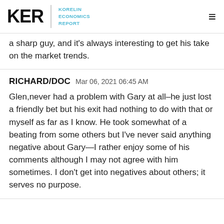KER KORELIN ECONOMICS REPORT
a sharp guy, and it's always interesting to get his take on the market trends.
RICHARD/DOC  Mar 06, 2021 06:45 AM
Glen,never had a problem with Gary at all–he just lost a friendly bet but his exit had nothing to do with that or myself as far as I know. He took somewhat of a beating from some others but I've never said anything negative about Gary—I rather enjoy some of his comments although I may not agree with him sometimes. I don't get into negatives about others; it serves no purpose.